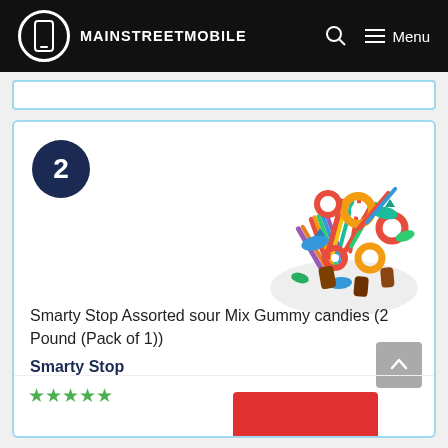MAINSTREETMOBILE
[Figure (photo): A large pile of assorted sour gummy candies including rainbow strips, gummy rings, gummy sharks, and other colorful mixed candies on a white background]
2
Smarty Stop Assorted sour Mix Gummy candies (2 Pound (Pack of 1))
Smarty Stop